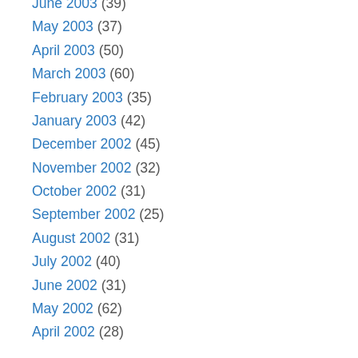June 2003 (39)
May 2003 (37)
April 2003 (50)
March 2003 (60)
February 2003 (35)
January 2003 (42)
December 2002 (45)
November 2002 (32)
October 2002 (31)
September 2002 (25)
August 2002 (31)
July 2002 (40)
June 2002 (31)
May 2002 (62)
April 2002 (28)